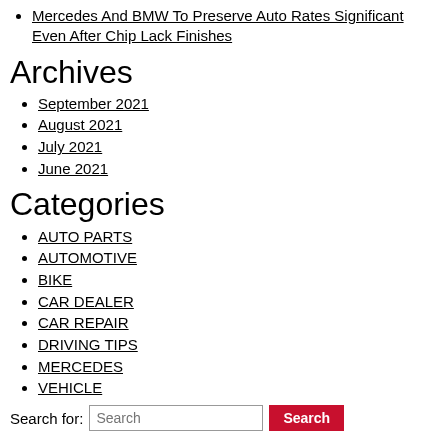Mercedes And BMW To Preserve Auto Rates Significant Even After Chip Lack Finishes
Archives
September 2021
August 2021
July 2021
June 2021
Categories
AUTO PARTS
AUTOMOTIVE
BIKE
CAR DEALER
CAR REPAIR
DRIVING TIPS
MERCEDES
VEHICLE
Search for: Search